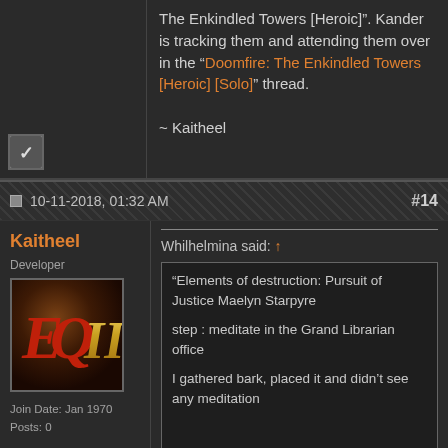The Enkindled Towers [Heroic]". Kander is tracking them and attending them over in the "Doomfire: The Enkindled Towers [Heroic] [Solo]" thread.

~ Kaitheel
10-11-2018, 01:32 AM
#14
Kaitheel
Developer
[Figure (logo): EverQuest II logo - stylized EQII text in red and gold on dark brown background]
Join Date: Jan 1970
Posts: 0
Whilhelmina said: ↑
"Elements of destruction: Pursuit of Justice Maelyn Starpyre

step : meditate in the Grand Librarian office

I gathered bark, placed it and didn't see any meditation